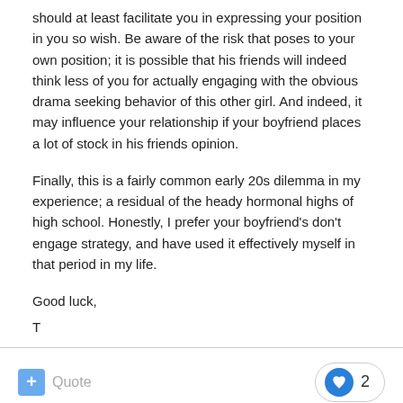should at least facilitate you in expressing your position in you so wish. Be aware of the risk that poses to your own position; it is possible that his friends will indeed think less of you for actually engaging with the obvious drama seeking behavior of this other girl. And indeed, it may influence your relationship if your boyfriend places a lot of stock in his friends opinion.
Finally, this is a fairly common early 20s dilemma in my experience; a residual of the heady hormonal highs of high school. Honestly, I prefer your boyfriend's don't engage strategy, and have used it effectively myself in that period in my life.
Good luck,
T
Quote  2
abykann